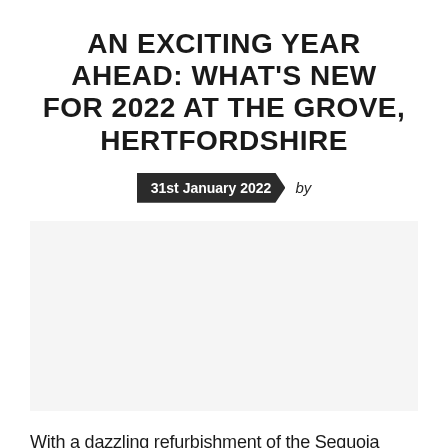AN EXCITING YEAR AHEAD: WHAT'S NEW FOR 2022 AT THE GROVE, HERTFORDSHIRE
31st January 2022  by
[Figure (photo): Image placeholder area (image not visible in source)]
With a dazzling refurbishment of the Sequoia Spa, an outdoor garden cinema with Everyman and exclusive football camps with Football Escapes,